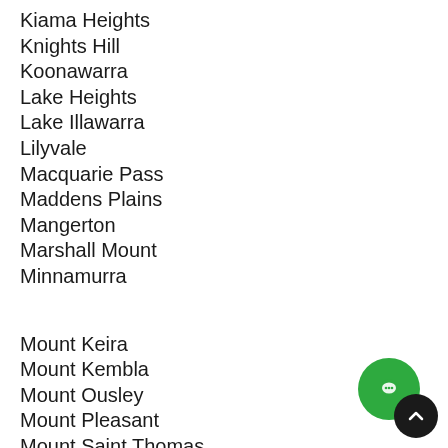Kiama Heights
Knights Hill
Koonawarra
Lake Heights
Lake Illawarra
Lilyvale
Macquarie Pass
Maddens Plains
Mangerton
Marshall Mount
Minnamurra
Mount Keira
Mount Kembla
Mount Ousley
Mount Pleasant
Mount Saint Thomas